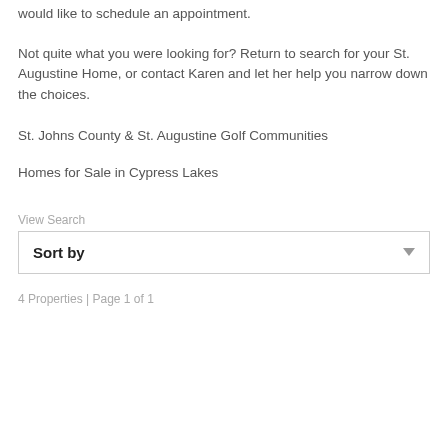would like to schedule an appointment.
Not quite what you were looking for? Return to search for your St. Augustine Home, or contact Karen and let her help you narrow down the choices.
St. Johns County & St. Augustine Golf Communities
Homes for Sale in Cypress Lakes
View Search
Sort by
4 Properties | Page 1 of 1